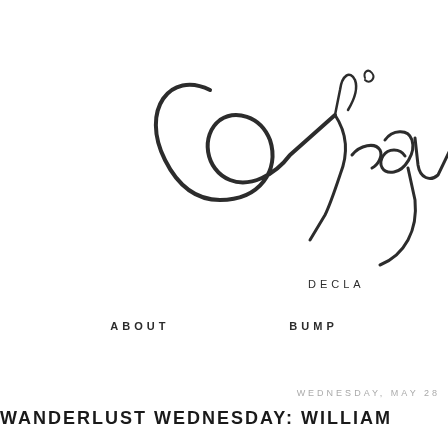[Figure (logo): Cursive/script logo text reading 'Virgu' (partially visible, cropped at right edge) with 'DECLA' text below in spaced caps — appears to be a blog or website logo]
ABOUT    BUMP
WEDNESDAY, MAY 28
WANDERLUST WEDNESDAY: WILLIAM